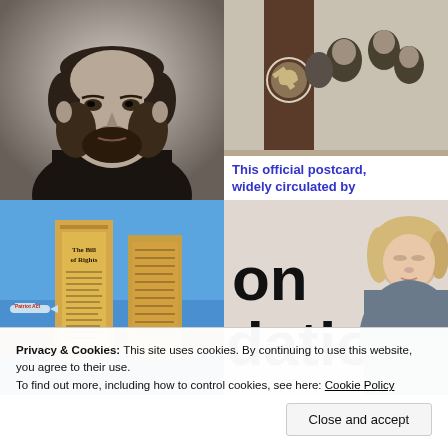[Figure (photo): Black and white portrait photograph of Abraham Lincoln]
[Figure (photo): Black and white historical postcard image featuring communist imagery including hammer and sickle symbol and group portrait]
This official postcard, widely circulated by
[Figure (photo): Composite image of Twin Towers with Bill of Rights document overlaid, airplane with 'Patriot Act' label]
[Figure (photo): Partial photo showing text 'on' and 'dation' (Foundation) with a woman (Hillary Clinton) visible on right side]
Privacy & Cookies: This site uses cookies. By continuing to use this website, you agree to their use.
To find out more, including how to control cookies, see here: Cookie Policy
Close and accept